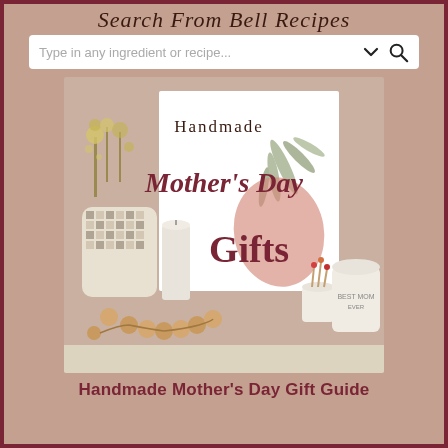Search From Bell Recipes
[Figure (screenshot): Search bar with placeholder text 'Type in any ingredient or recipe...' and dropdown/search icons on white background]
[Figure (photo): Handmade Mother's Day Gifts promotional image showing a styled flat lay with woven basket, candle, wooden bead garland, matchstick holder and candle jar. Text overlay reads 'Handmade Mother's Day Gifts' in dark red script and serif fonts on a warm beige background.]
Handmade Mother's Day Gift Guide